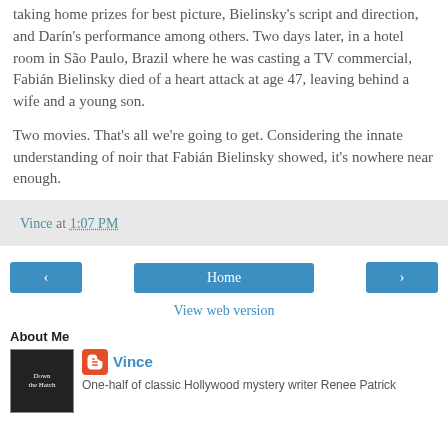taking home prizes for best picture, Bielinsky's script and direction, and Darín's performance among others. Two days later, in a hotel room in São Paulo, Brazil where he was casting a TV commercial, Fabián Bielinsky died of a heart attack at age 47, leaving behind a wife and a young son.
Two movies. That's all we're going to get. Considering the innate understanding of noir that Fabián Bielinsky showed, it's nowhere near enough.
Vince at 1:07 PM
Home
View web version
About Me
Vince
One-half of classic Hollywood mystery writer Renee Patrick